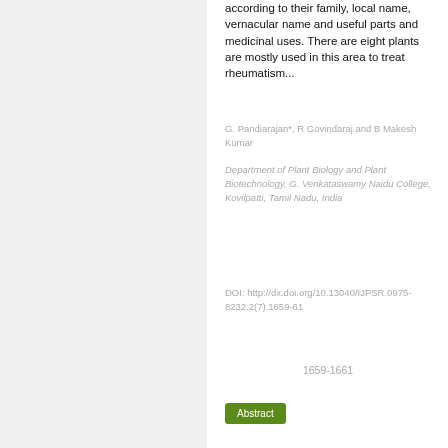according to their family, local name, vernacular name and useful parts and medicinal uses. There are eight plants are mostly used in this area to treat rheumatism...
G. Pandiarajan*, R Govindaraj and B Makesh Kumar
Department of Plant Biology and Plant Biotechnology, G. Venkataswamy Naidu College, Kovilpatti, Tamil Nadu, India
DOI: http://dx.doi.org/10.13040/IJPSR.0975-8232.2(7).1659-61
1659-1661
Abstract